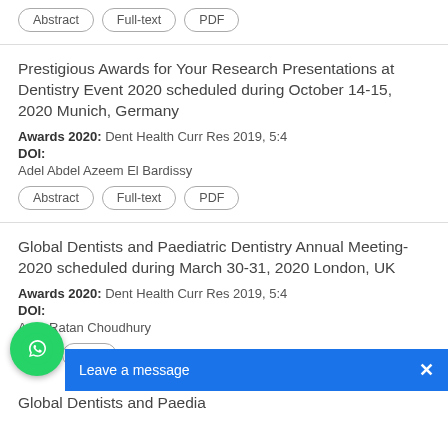Abstract | Full-text | PDF
Prestigious Awards for Your Research Presentations at Dentistry Event 2020 scheduled during October 14-15, 2020 Munich, Germany
Awards 2020: Dent Health Curr Res 2019, 5:4
DOI:
Adel Abdel Azeem El Bardissy
Abstract | Full-text | PDF
Global Dentists and Paediatric Dentistry Annual Meeting-2020 scheduled during March 30-31, 2020 London, UK
Awards 2020: Dent Health Curr Res 2019, 5:4
DOI:
Arun Ratan Choudhury
Full-text | PDF
Global Dentists and Paedia…